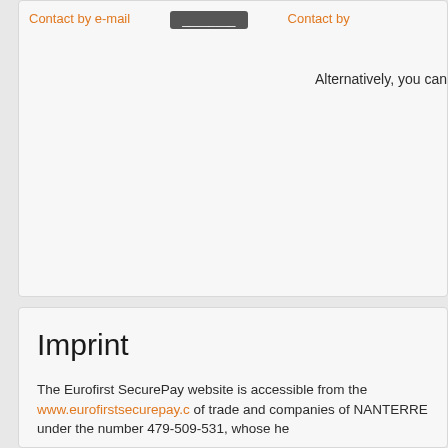Contact by e-mail
Contact by
Alternatively, you can
Imprint
The Eurofirst SecurePay website is accessible from the www.eurofirstsecurepay.c of trade and companies of NANTERRE under the number 479-509-531, whose he
The Director of the publication and the editor is Mr Paul GIBERT, reached at the a
The site host is
O.V.H.
SAS with a capital of 10 000 €000
RCS Roubaix - Tourcoing 424 761 419 00045
Code APE 6202A
VAT NO.: FR 22 424 761 419
Registered office: 2 rue Kellermann - 59100 Roubaix - France.
Director of publication: Octave KLABA